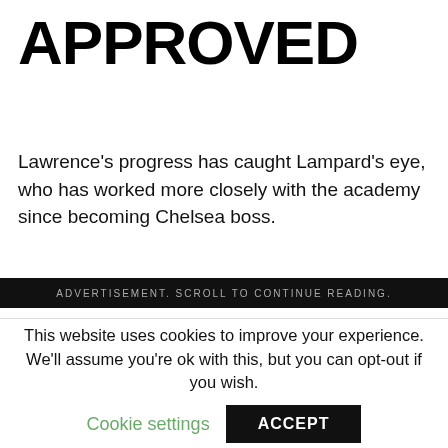APPROVED
Lawrence's progress has caught Lampard's eye, who has worked more closely with the academy since becoming Chelsea boss.
ADVERTISEMENT. SCROLL TO CONTINUE READING.
This website uses cookies to improve your experience. We'll assume you're ok with this, but you can opt-out if you wish.
Cookie settings
ACCEPT